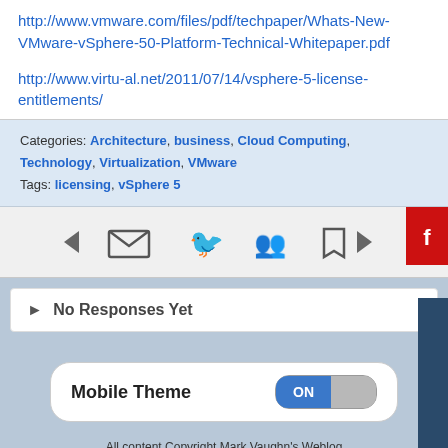http://www.vmware.com/files/pdf/techpaper/Whats-New-VMware-vSphere-50-Platform-Technical-Whitepaper.pdf
http://www.virtu-al.net/2011/07/14/vsphere-5-license-entitlements/
Categories: Architecture, business, Cloud Computing, Technology, Virtualization, VMware
Tags: licensing, vSphere 5
[Figure (screenshot): Social share/navigation bar with icons: back arrow, email, bird/twitter, people/groups, bookmark, forward arrow, and Adobe Flash badge on far right]
No Responses Yet
[Figure (screenshot): Mobile Theme toggle switch showing ON state]
All content Copyright Mark Vaughn's Weblog
Powered by WordPress + WPtouch 1.9.40